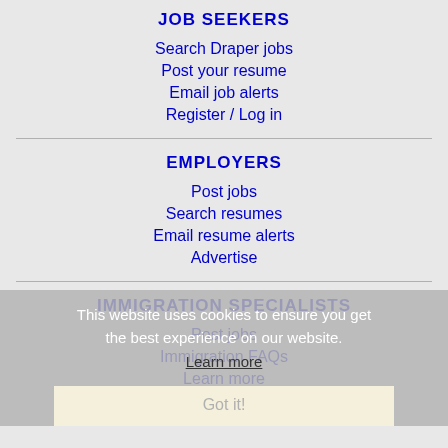JOB SEEKERS
Search Draper jobs
Post your resume
Email job alerts
Register / Log in
EMPLOYERS
Post jobs
Search resumes
Email resume alerts
Advertise
IMMIGRATION SPECIALISTS
Post jobs
Immigration FAQs
Learn more
This website uses cookies to ensure you get the best experience on our website.
Learn more
Got it!